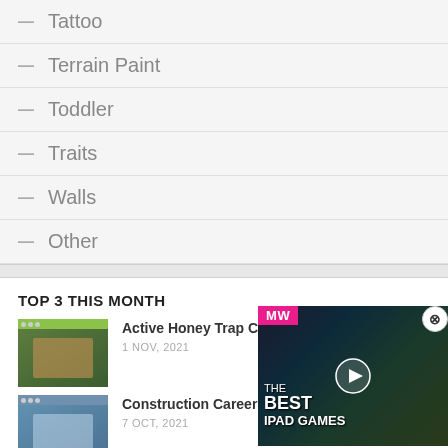— Tattoo
— Terrain Paint
— Toddler
— Traits
— Walls
— Other
TOP 3 THIS MONTH
Active Honey Trap C…
1 NOV, 2021
Construction Career…
7 OCT, 2021
[Figure (screenshot): Video advertisement overlay showing MW logo on pink background and game character, text reading THE BEST IPAD GAMES]
[Figure (screenshot): Banner advertisement for Harry Potter on HBO Max, STREAM THE MAGIC, PLANS START AT $9.99/MONTH]